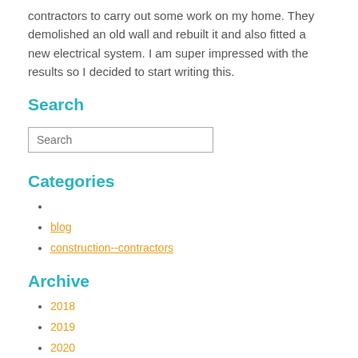contractors to carry out some work on my home. They demolished an old wall and rebuilt it and also fitted a new electrical system. I am super impressed with the results so I decided to start writing this.
Search
[Figure (screenshot): A search input box with placeholder text 'Search']
Categories
blog
construction--contractors
Archive
2018
2019
2020
2021
2022